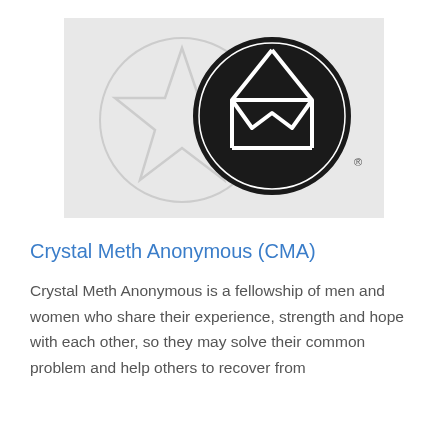[Figure (logo): Crystal Meth Anonymous (CMA) logo: a light grey rectangle background with a faint watermark circle and star/triangle symbol on the left, and a bold black circle on the right containing a white geometric symbol of stacked triangles (mountains/envelope shape). A small registered trademark symbol appears to the right of the black circle.]
Crystal Meth Anonymous (CMA)
Crystal Meth Anonymous is a fellowship of men and women who share their experience, strength and hope with each other, so they may solve their common problem and help others to recover from